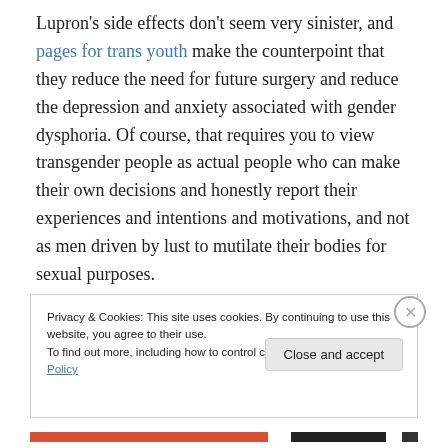Lupron's side effects don't seem very sinister, and pages for trans youth make the counterpoint that they reduce the need for future surgery and reduce the depression and anxiety associated with gender dysphoria. Of course, that requires you to view transgender people as actual people who can make their own decisions and honestly report their experiences and intentions and motivations, and not as men driven by lust to mutilate their bodies for sexual purposes.
Privacy & Cookies: This site uses cookies. By continuing to use this website, you agree to their use. To find out more, including how to control cookies, see here: Cookie Policy